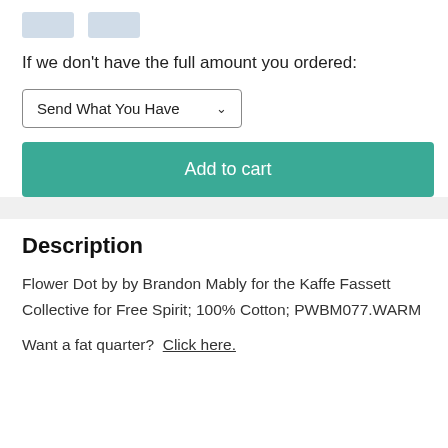[Figure (other): Two small placeholder/button boxes at top of page]
If we don't have the full amount you ordered:
Send What You Have
Add to cart
Description
Flower Dot by by Brandon Mably for the Kaffe Fassett Collective for Free Spirit; 100% Cotton; PWBM077.WARM
Want a fat quarter?  Click here.